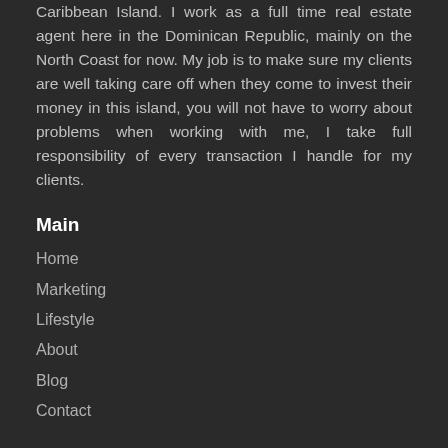Caribbean Island. I work as a full time real estate agent here in the Dominican Republic, mainly on the North Coast for now. My job is to make sure my clients are well taking care off when they come to invest their money in this island, you will not have to worry about problems when working with me, I take full responsibility of every transaction I handle for my clients.
Main
Home
Marketing
Lifestyle
About
Blog
Contact
Other Links
Buy
Rent
Contact & Info